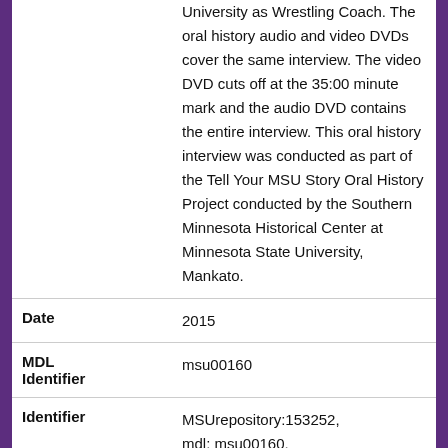University as Wrestling Coach. The oral history audio and video DVDs cover the same interview. The video DVD cuts off at the 35:00 minute mark and the audio DVD contains the entire interview. This oral history interview was conducted as part of the Tell Your MSU Story Oral History Project conducted by the Southern Minnesota Historical Center at Minnesota State University, Mankato.
| Field | Value |
| --- | --- |
| Date | 2015 |
| MDL Identifier | msu00160 |
| Identifier | MSUrepository:153252,
mdl: msu00160,
local: msu00160_SMHC_252_01_04 |
| Title | SMHC 252 Audio Macias |